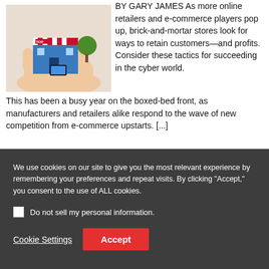[Figure (photo): A hand holding a miniature retail store building with a tree, representing brick-and-mortar retail]
BY GARY JAMES As more online retailers and e-commerce players pop up, brick-and-mortar stores look for ways to retain customers—and profits. Consider these tactics for succeeding in the cyber world. This has been a busy year on the boxed-bed front, as manufacturers and retailers alike respond to the wave of new competition from e-commerce upstarts. [...]
We use cookies on our site to give you the most relevant experience by remembering your preferences and repeat visits. By clicking "Accept," you consent to the use of ALL cookies.
Do not sell my personal information.
Cookie Settings
Accept